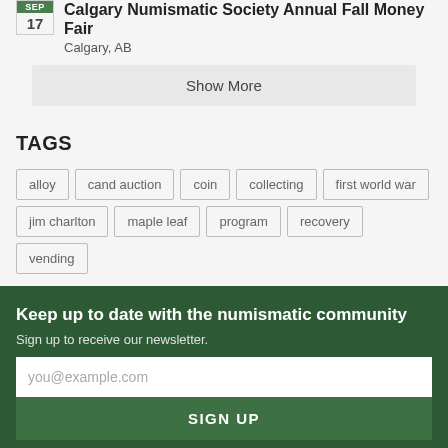Calgary Numismatic Society Annual Fall Money Fair
Calgary, AB
Show More
TAGS
alloy
cand auction
coin
collecting
first world war
jim charlton
maple leaf
program
recovery
vending
Keep up to date with the numismatic community
Sign up to receive our newsletter.
you@example.com
SIGN UP